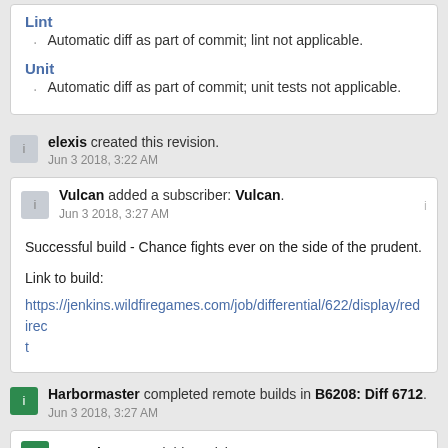Lint
Automatic diff as part of commit; lint not applicable.
Unit
Automatic diff as part of commit; unit tests not applicable.
elexis created this revision.
Jun 3 2018, 3:22 AM
Vulcan added a subscriber: Vulcan.
Jun 3 2018, 3:27 AM
Successful build - Chance fights ever on the side of the prudent.

Link to build:
https://jenkins.wildfiregames.com/job/differential/622/display/redirect
Harbormaster completed remote builds in B6208: Diff 6712.
Jun 3 2018, 3:27 AM
Imarok accepted this revision.